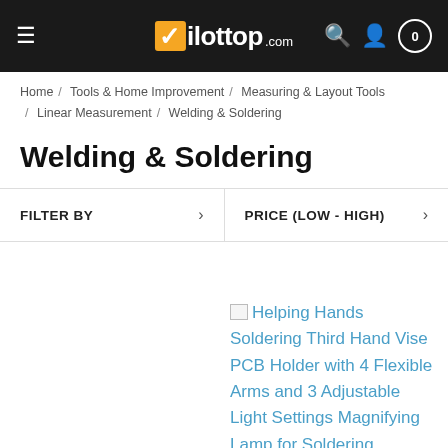Pilottop.com
Home / Tools & Home Improvement / Measuring & Layout Tools / Linear Measurement / Welding & Soldering
Welding & Soldering
FILTER BY
PRICE (LOW - HIGH)
Helping Hands Soldering Third Hand Vise PCB Holder with 4 Flexible Arms and 3 Adjustable Light Settings Magnifying Lamp for Soldering